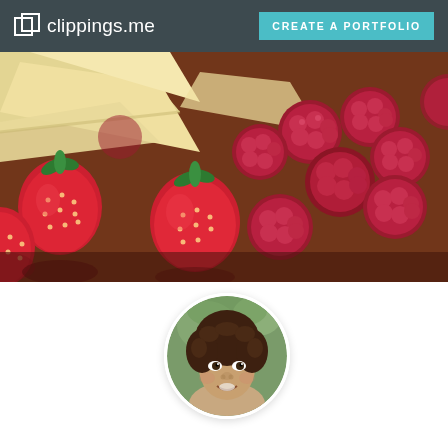clippings.me | CREATE A PORTFOLIO
[Figure (photo): Close-up photograph of fresh strawberries and raspberries alongside slices of white/brie cheese on a wooden board]
[Figure (photo): Circular profile photo of a woman with curly dark hair, smiling, outdoors]